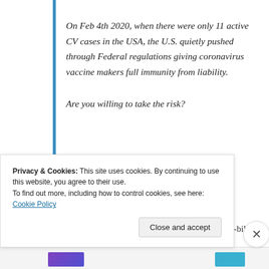On Feb 4th 2020, when there were only 11 active CV cases in the USA, the U.S. quietly pushed through Federal regulations giving coronavirus vaccine makers full immunity from liability.
Are you willing to take the risk?
*https://childrenshealthdefense.org/news/heres-why-bill-gates-wants-indemnity-are-you-willing-to-
Privacy & Cookies: This site uses cookies. By continuing to use this website, you agree to their use.
To find out more, including how to control cookies, see here: Cookie Policy